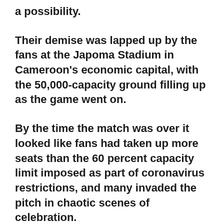a possibility.
Their demise was lapped up by the fans at the Japoma Stadium in Cameroon's economic capital, with the 50,000-capacity ground filling up as the game went on.
By the time the match was over it looked like fans had taken up more seats than the 60 percent capacity limit imposed as part of coronavirus restrictions, and many invaded the pitch in chaotic scenes of celebration.
The Ivory Coast clearly had the backing of the crowd and they will stay in Douala for a heavyweight last-16 tie next week against Mohamed Salah's Egypt in a repeat of the